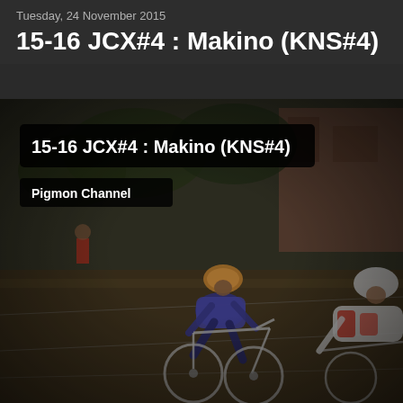Tuesday, 24 November 2015
15-16 JCX#4 : Makino (KNS#4)
[Figure (photo): Cyclocross race photo showing two cyclists racing on a grass/dirt course. The lead rider wears a purple/blue jersey and helmet with orange stripes. A second rider in white and red jersey is visible at right edge. Background shows trees, a building, and a blurred spectator. Overlaid text boxes read '15-16 JCX#4 : Makino (KNS#4)' and 'Pigmon Channel'. The image has a dark vignette overlay.]